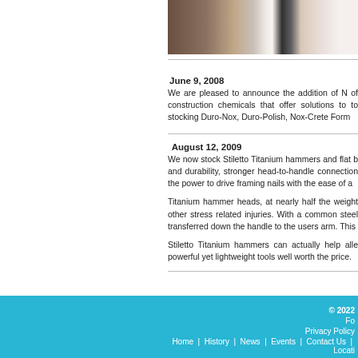[Figure (photo): Partial photo showing people and construction/supply materials in background, cropped at right edge of visible area]
June 9, 2008
We are pleased to announce the addition of N of construction chemicals that offer solutions to to stocking Duro-Nox, Duro-Polish, Nox-Crete Form
August 12, 2009
We now stock Stiletto Titanium hammers and flat b and durability, stronger head-to-handle connection the power to drive framing nails with the ease of a
Titanium hammer heads, at nearly half the weight other stress related injuries. With a common steel transferred down the handle to the users arm. This
Stiletto Titanium hammers can actually help alle powerful yet lightweight tools well worth the price.
© 2022 | Fo Privacy Policy | Home | History | News | Events | Contact Us | Locati